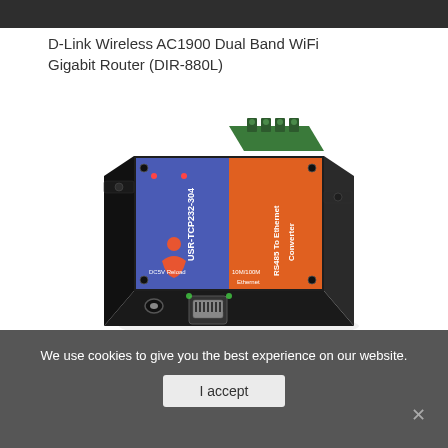[Figure (photo): Top navigation bar, dark gray strip at top of page]
D-Link Wireless AC1900 Dual Band WiFi Gigabit Router (DIR-880L)
[Figure (photo): USR-TCP232-304 RS485 to Ethernet Converter device photo — black metal enclosure with blue and orange label, green terminal block on top, RJ45 ethernet port and DC power jack on front, mounted on black bracket]
We use cookies to give you the best experience on our website.
I accept